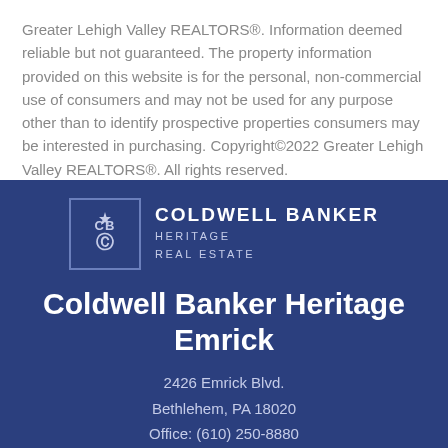Greater Lehigh Valley REALTORS®. Information deemed reliable but not guaranteed. The property information provided on this website is for the personal, non-commercial use of consumers and may not be used for any purpose other than to identify prospective properties consumers may be interested in purchasing. Copyright©2022 Greater Lehigh Valley REALTORS®. All rights reserved.
[Figure (logo): Coldwell Banker Heritage Real Estate logo with CB monogram in a square border and text to the right]
Coldwell Banker Heritage Emrick
2426 Emrick Blvd.
Bethlehem, PA 18020
Office: (610) 250-8880